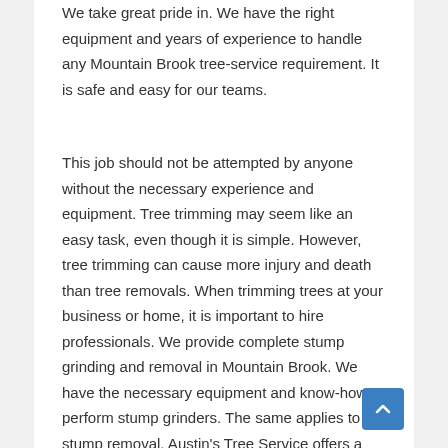We take great pride in. We have the right equipment and years of experience to handle any Mountain Brook tree-service requirement. It is safe and easy for our teams.
This job should not be attempted by anyone without the necessary experience and equipment. Tree trimming may seem like an easy task, even though it is simple. However, tree trimming can cause more injury and death than tree removals. When trimming trees at your business or home, it is important to hire professionals. We provide complete stump grinding and removal in Mountain Brook. We have the necessary equipment and know-how to perform stump grinders. The same applies to stump removal. Austin's Tree Service offers a free quote if you are